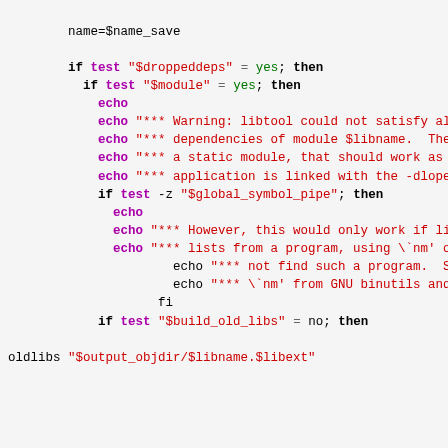Shell script code snippet showing libtool dependency checking logic with echo warnings and conditional tests